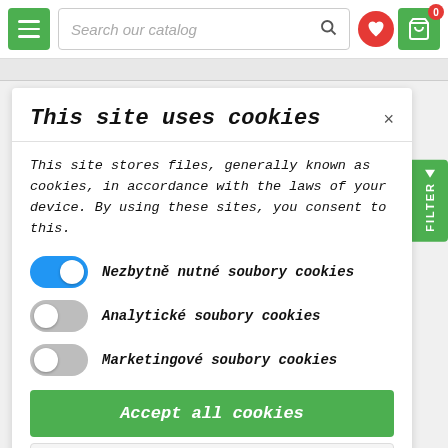[Figure (screenshot): Website navigation bar with green hamburger menu button, search field reading 'Search our catalog', heart icon, and green shopping basket icon with badge showing 0]
This site uses cookies
This site stores files, generally known as cookies, in accordance with the laws of your device. By using these sites, you consent to this.
Nezbytně nutné soubory cookies (toggle: on/blue)
Analytické soubory cookies (toggle: off/grey)
Marketingové soubory cookies (toggle: off/grey)
Accept all cookies
Allow only essential cookies
More information